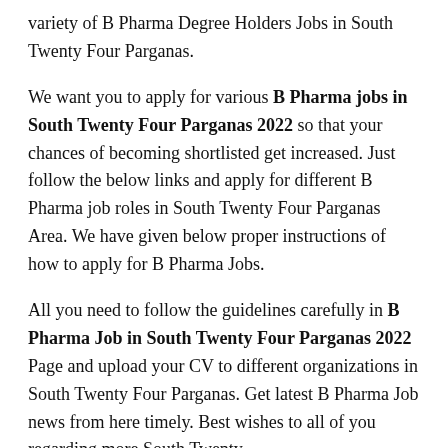variety of B Pharma Degree Holders Jobs in South Twenty Four Parganas.
We want you to apply for various B Pharma jobs in South Twenty Four Parganas 2022 so that your chances of becoming shortlisted get increased. Just follow the below links and apply for different B Pharma job roles in South Twenty Four Parganas Area. We have given below proper instructions of how to apply for B Pharma Jobs.
All you need to follow the guidelines carefully in B Pharma Job in South Twenty Four Parganas 2022 Page and upload your CV to different organizations in South Twenty Four Parganas. Get latest B Pharma Job news from here timely. Best wishes to all of you regarding more South Twenty